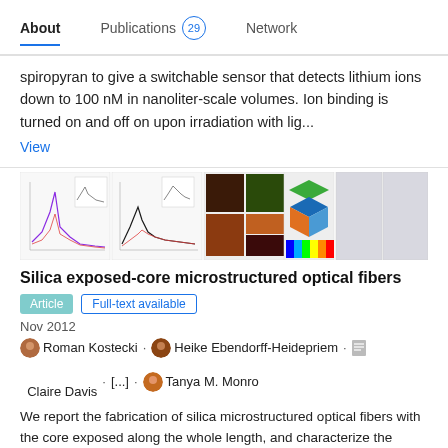About  Publications 29  Network
spiropyran to give a switchable sensor that detects lithium ions down to 100 nM in nanoliter-scale volumes. Ion binding is turned on and off on upon irradiation with lig...
View
[Figure (photo): Strip of scientific figures including spectral graphs, AFM images, and 3D rendered shapes related to optical fiber research]
Silica exposed-core microstructured optical fibers
Article  Full-text available
Nov 2012
Roman Kostecki · Heike Ebendorff-Heidepriem · Claire Davis · [...] · Tanya M. Monro
We report the fabrication of silica microstructured optical fibers with the core exposed along the whole length, and characterize the stability of these new fibers when exposed to some typical sensing and storage environments. We show the fiber loss to be